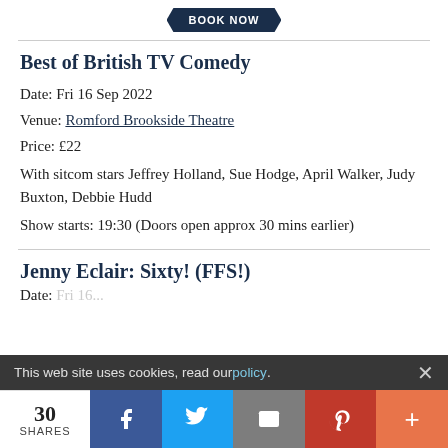[Figure (other): Dark navy chevron/pentagon shaped 'BOOK NOW' button at the top of the page]
Best of British TV Comedy
Date: Fri 16 Sep 2022
Venue: Romford Brookside Theatre
Price: £22
With sitcom stars Jeffrey Holland, Sue Hodge, April Walker, Judy Buxton, Debbie Hudd
Show starts: 19:30 (Doors open approx 30 mins earlier)
Jenny Eclair: Sixty! (FFS!)
Date: (partially visible, cut off)
This web site uses cookies, read our policy.
30 SHARES